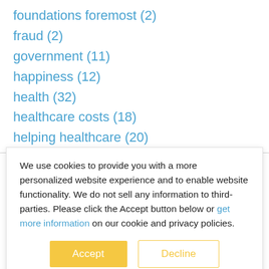foundations foremost (2)
fraud (2)
government (11)
happiness (12)
health (32)
healthcare costs (18)
helping healthcare (20)
HIPAA (2)
hospital (7)
human behavior (8)
We use cookies to provide you with a more personalized website experience and to enable website functionality. We do not sell any information to third-parties. Please click the Accept button below or get more information on our cookie and privacy policies.